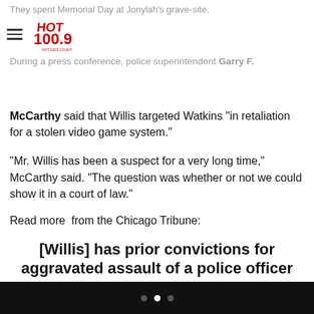They spent Memorial Day at Jonylah's grave-site.
[Figure (logo): Hot 100.9 radio station logo — red and black stylized text]
During a press conference, police superintendent Garry F. McCarthy said that Willis targeted Watkins “in retaliation for a stolen video game system.”
“Mr. Willis has been a suspect for a very long time,” McCarthy said. “The question was whether or not we could show it in a court of law.”
Read more  from the Chicago Tribune:
[Willis] has prior convictions for aggravated assault of a police officer from a 2002 incident in which he was sentenced to three years in the Illinois Department of